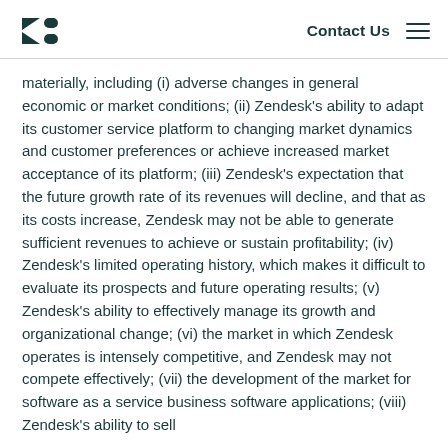Zendesk logo | Contact Us | Menu
materially, including (i) adverse changes in general economic or market conditions; (ii) Zendesk’s ability to adapt its customer service platform to changing market dynamics and customer preferences or achieve increased market acceptance of its platform; (iii) Zendesk’s expectation that the future growth rate of its revenues will decline, and that as its costs increase, Zendesk may not be able to generate sufficient revenues to achieve or sustain profitability; (iv) Zendesk’s limited operating history, which makes it difficult to evaluate its prospects and future operating results; (v) Zendesk’s ability to effectively manage its growth and organizational change; (vi) the market in which Zendesk operates is intensely competitive, and Zendesk may not compete effectively; (vii) the development of the market for software as a service business software applications; (viii) Zendesk’s ability to sell